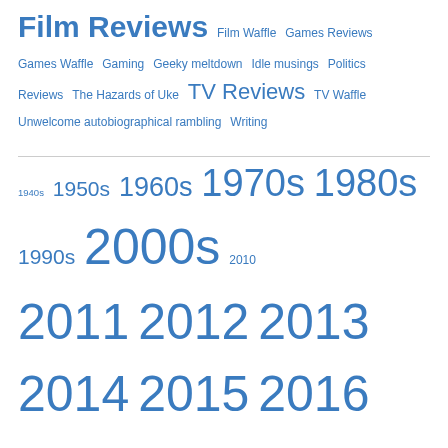Film Reviews  Film Waffle  Games Reviews  Games Waffle  Gaming  Geeky meltdown  Idle musings  Politics  Reviews  The Hazards of Uke  TV Reviews  TV Waffle  Unwelcome autobiographical rambling  Writing
1940s  1950s  1960s  1970s  1980s  1990s  2000s  2010  2011  2012  2013  2014  2015  2016  2017  2018  2019  2020  2021  2022  action  alien invasion  animation  Awix's picks  Babylon 5  BBC  Blake's 7  Blood Angels  cheap gags  Christopher Lee  cobblers  comedy  Continuity Hell  costume drama  DC  Dispatches from the Front  documentary  Dracula  drama  fantasy  Godzilla  Hammer  horror